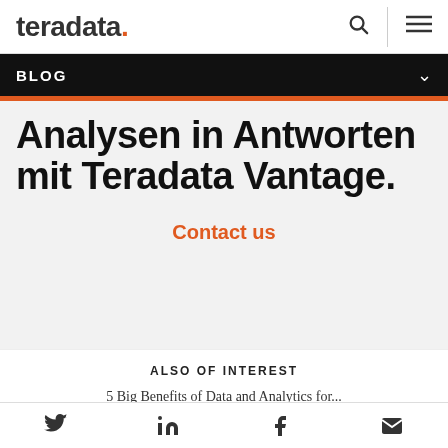teradata. [search icon] [menu icon]
BLOG
Analysen in Antworten mit Teradata Vantage.
Contact us
ALSO OF INTEREST
5 Big Benefits of Data and Analytics for...
Advanced Analytics for Coronavirus
How to Make the Most of Big Data Analytics in
[Twitter] [LinkedIn] [Facebook] [Email]